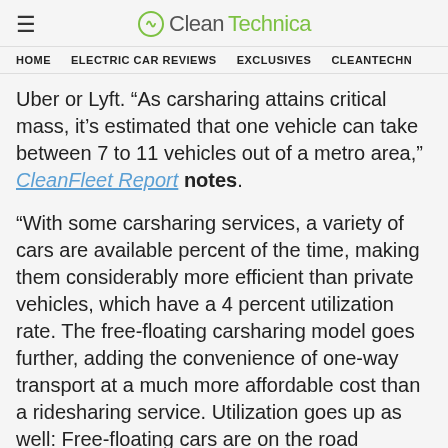CleanTechnica
HOME   ELECTRIC CAR REVIEWS   EXCLUSIVES   CLEANTECHN
Uber or Lyft. “As carsharing attains critical mass, it’s estimated that one vehicle can take between 7 to 11 vehicles out of a metro area,” CleanFleet Report notes.
“With some carsharing services, a variety of cars are available percent of the time, making them considerably more efficient than private vehicles, which have a 4 percent utilization rate. The free-floating carsharing model goes further, adding the convenience of one-way transport at a much more affordable cost than a ridesharing service. Utilization goes up as well: Free-floating cars are on the road